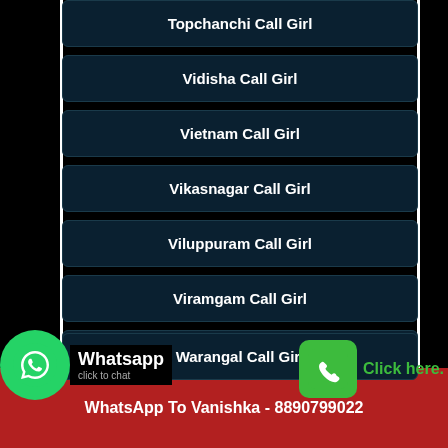Topchanchi Call Girl
Vidisha Call Girl
Vietnam Call Girl
Vikasnagar Call Girl
Viluppuram Call Girl
Viramgam Call Girl
Virudhunagar Call Girl
Warangal Call Girl
Call Vanishka Now - 8890799022
Whatsapp click to chat
Click here.
WhatsApp To Vanishka - 8890799022